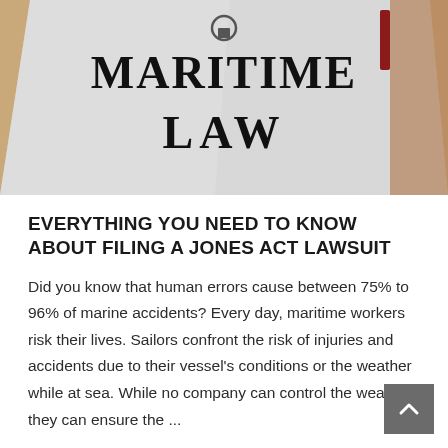[Figure (photo): Photo of a book or document with 'MARITIME LAW' printed in large bold black letters on a white/gray cover, placed on a wooden surface with other items partially visible.]
EVERYTHING YOU NEED TO KNOW ABOUT FILING A JONES ACT LAWSUIT
Did you know that human errors cause between 75% to 96% of marine accidents? Every day, maritime workers risk their lives. Sailors confront the risk of injuries and accidents due to their vessel's conditions or the weather while at sea. While no company can control the weather, they can ensure the ...
Read More